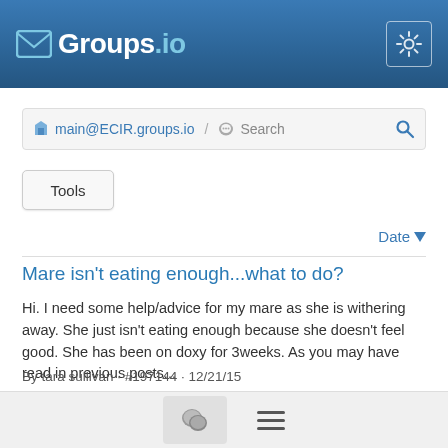Groups.io
main@ECIR.groups.io / Search
Tools
Date
Mare isn't eating enough...what to do?
Hi. I need some help/advice for my mare as she is withering away. She just isn't eating enough because she doesn't feel good. She has been on doxy for 3weeks. As you may have read in previous posts...
By tara sullivan · #197144 · 12/21/15
Need some help with my mare